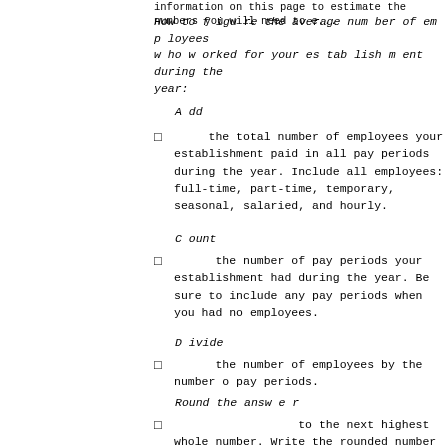information on this page to estimate the numbers you will need to e...
How to figure the average number of employees who worked for your establishment during the year:
Add
the total number of employees your establishment paid in all pay periods during the year. Include all employees: full-time, part-time, temporary, seasonal, salaried, and hourly.
Count
the number of pay periods your establishment had during the year. Be sure to include any pay periods when you had no employees.
Divide
the number of employees by the number of pay periods.
Round the answer
to the next highest whole number. Write the rounded number in the blank marked Annual average number of employees.